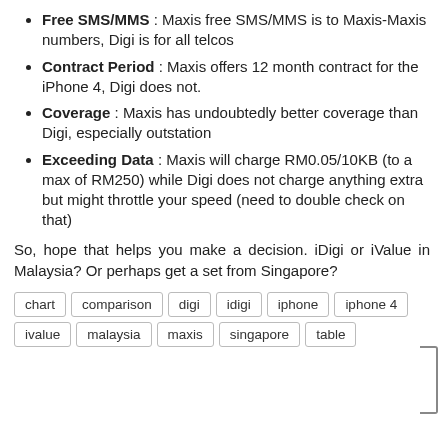Free SMS/MMS : Maxis free SMS/MMS is to Maxis-Maxis numbers, Digi is for all telcos
Contract Period : Maxis offers 12 month contract for the iPhone 4, Digi does not.
Coverage : Maxis has undoubtedly better coverage than Digi, especially outstation
Exceeding Data : Maxis will charge RM0.05/10KB (to a max of RM250) while Digi does not charge anything extra but might throttle your speed (need to double check on that)
So, hope that helps you make a decision. iDigi or iValue in Malaysia? Or perhaps get a set from Singapore?
chart  comparison  digi  idigi  iphone  iphone 4  ivalue  malaysia  maxis  singapore  table